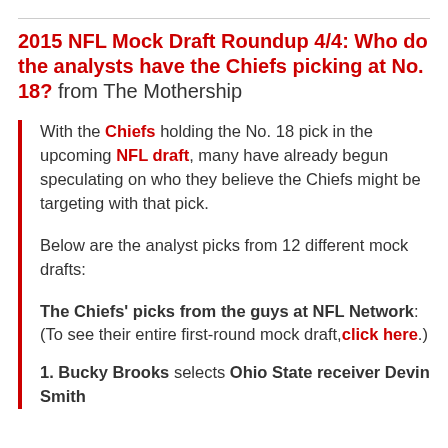2015 NFL Mock Draft Roundup 4/4: Who do the analysts have the Chiefs picking at No. 18? from The Mothership
With the Chiefs holding the No. 18 pick in the upcoming NFL draft, many have already begun speculating on who they believe the Chiefs might be targeting with that pick.
Below are the analyst picks from 12 different mock drafts:
The Chiefs' picks from the guys at NFL Network: (To see their entire first-round mock draft, click here.)
1. Bucky Brooks selects Ohio State receiver Devin Smith